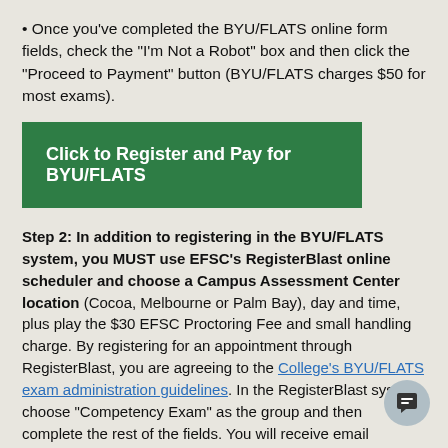• Once you've completed the BYU/FLATS online form fields, check the "I'm Not a Robot" box and then click the "Proceed to Payment" button (BYU/FLATS charges $50 for most exams).
[Figure (other): Green button: Click to Register and Pay for BYU/FLATS]
Step 2: In addition to registering in the BYU/FLATS system, you MUST use EFSC's RegisterBlast online scheduler and choose a Campus Assessment Center location (Cocoa, Melbourne or Palm Bay), day and time, plus play the $30 EFSC Proctoring Fee and small handling charge. By registering for an appointment through RegisterBlast, you are agreeing to the College's BYU/FLATS exam administration guidelines. In the RegisterBlast system, choose "Competency Exam" as the group and then complete the rest of the fields. You will receive email confirmation following payment and you will be able to use the system to cancel or reschedule your proctored testing appointment up to 24hours in advance to the exam.